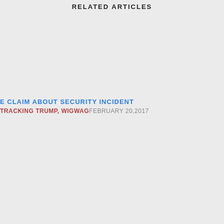RELATED ARTICLES
E CLAIM ABOUT SECURITY INCIDENT
TRACKING TRUMP, WIGWAGFEBRUARY 20,2017